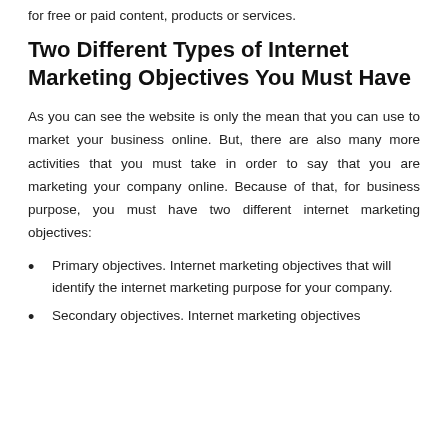for free or paid content, products or services.
Two Different Types of Internet Marketing Objectives You Must Have
As you can see the website is only the mean that you can use to market your business online. But, there are also many more activities that you must take in order to say that you are marketing your company online. Because of that, for business purpose, you must have two different internet marketing objectives:
Primary objectives. Internet marketing objectives that will identify the internet marketing purpose for your company.
Secondary objectives. Internet marketing objectives